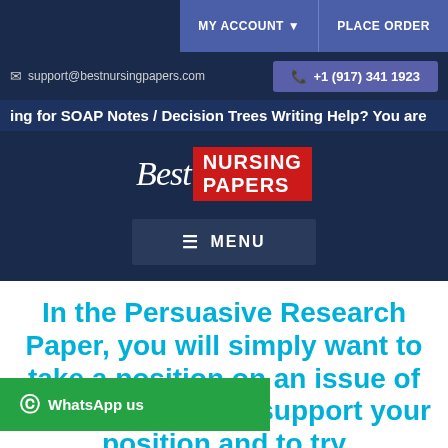MY ACCOUNT ▼   PLACE ORDER
✉ support@bestnursingpapers.com   📞 +1 (917) 341 1923
ing for SOAP Notes / Decision Trees Writing Help? You are
[Figure (logo): Best Nursing Papers logo - cursive Best text with red box containing NURSING PAPERS in white bold text]
≡ MENU
In the Persuasive Research Paper, you will simply want to take a position on an issue of using research to support your position and to try
WhatsApp us